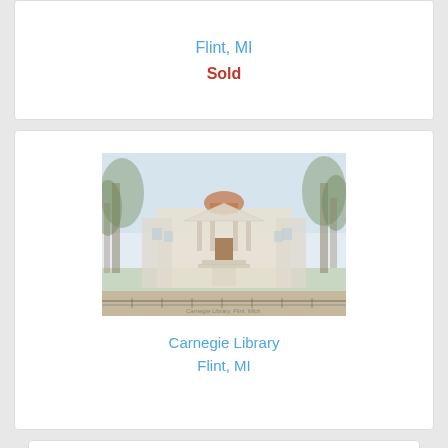Flint, MI
Sold
[Figure (photo): Vintage postcard illustration of the Carnegie Library in Flint, MI. A neoclassical building with columns and a dome, surrounded by trees, with a brick path leading to the entrance.]
Carnegie Library
Flint, MI